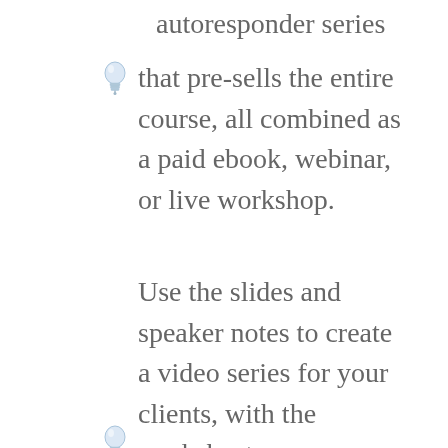autoresponder series that pre-sells the entire course, all combined as a paid ebook, webinar, or live workshop.
Use the slides and speaker notes to create a video series for your clients, with the worksheets as downloads to accompany each video.